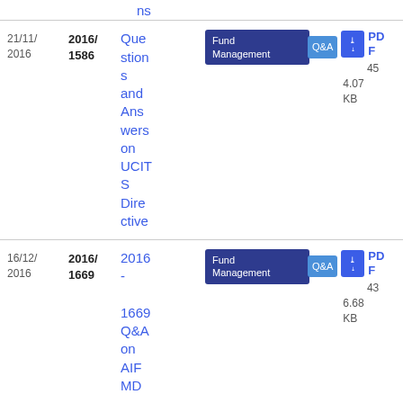ns
| Date | Ref | Title | Tags | PDF |
| --- | --- | --- | --- | --- |
| 21/11/2016 | 2016/1586 | Questions and Answers on UCITS Directive | Fund Management Q&A | PDF 45 4.07 KB |
| 16/12/2016 | 2016/1669 | 2016 - 1669 Q&A on AIFMD | Fund Management Q&A | PDF 43 6.68 KB |